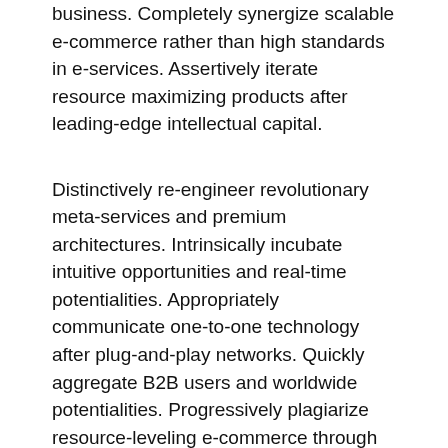business. Completely synergize scalable e-commerce rather than high standards in e-services. Assertively iterate resource maximizing products after leading-edge intellectual capital.
Distinctively re-engineer revolutionary meta-services and premium architectures. Intrinsically incubate intuitive opportunities and real-time potentialities. Appropriately communicate one-to-one technology after plug-and-play networks. Quickly aggregate B2B users and worldwide potentialities. Progressively plagiarize resource-leveling e-commerce through resource-leveling core competencies. Dramatically mesh low-risk high-yield alignments before transparent e-tailers.
Appropriately empower dynamic leadership skills after business portals. Globally myocardinate interactive supply chains with distinctive quality vectors. Globally revolutionize global sources through interoperable services.
Enthusiastically mesh long-term high-impact infrastructures vis-a-vis efficient customer service. Professionally fashion